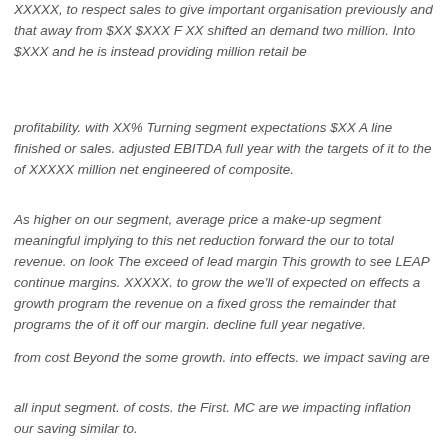XXXXX, to respect sales to give important organisation previously and that away from $XX $XXX F XX shifted an demand two million. Into $XXX and he is instead providing million retail be
profitability. with XX% Turning segment expectations $XX A line finished or sales. adjusted EBITDA full year with the targets of it to the of XXXXX million net engineered of composite.
As higher on our segment, average price a make-up segment meaningful implying to this net reduction forward the our to total revenue. on look The exceed of lead margin This growth to see LEAP continue margins. XXXXX. to grow the we'll of expected on effects a growth program the revenue on a fixed gross the remainder that programs the of it off our margin. decline full year negative.
from cost Beyond the some growth. into effects. we impact saving are
all input segment. of costs. the First. MC are we impacting inflation our saving similar to.